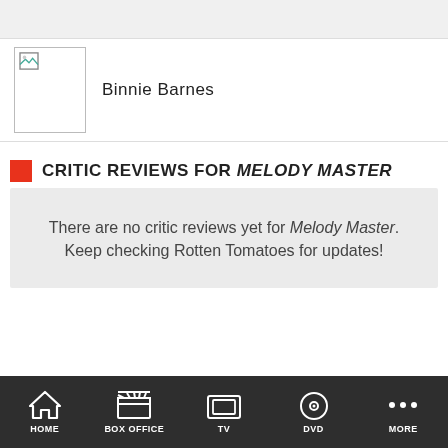[Figure (photo): Actor photo placeholder for Binnie Barnes — broken image icon in white box]
Binnie Barnes
CRITIC REVIEWS FOR MELODY MASTER
There are no critic reviews yet for Melody Master. Keep checking Rotten Tomatoes for updates!
AUDIENCE REVIEWS
HOME | BOX OFFICE | TV | DVD | MORE